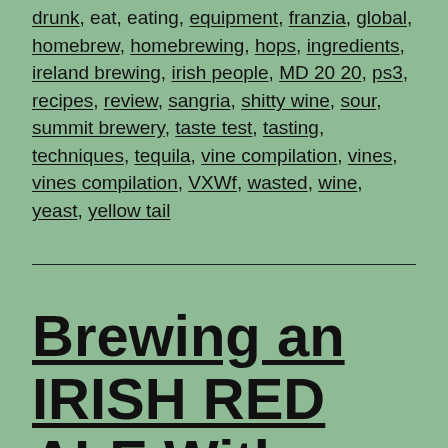drunk, eat, eating, equipment, franzia, global, homebrew, homebrewing, hops, ingredients, ireland brewing, irish people, MD 20 20, ps3, recipes, review, sangria, shitty wine, sour, summit brewery, taste test, tasting, techniques, tequila, vine compilation, vines, vines compilation, VXWf, wasted, wine, yeast, yellow tail
Brewing an IRISH RED ALE With MORE FLAVOR! Surprising...